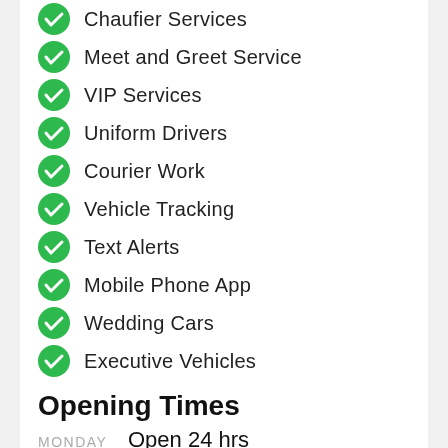Chaufier Services
Meet and Greet Service
VIP Services
Uniform Drivers
Courier Work
Vehicle Tracking
Text Alerts
Mobile Phone App
Wedding Cars
Executive Vehicles
Opening Times
Monday Open 24 hrs
Tuesday Open 24 hrs
Wednesday Open 24 hrs
Thursday Open 24 hrs
Friday Open 24 hrs
Saturday Open 24 hrs